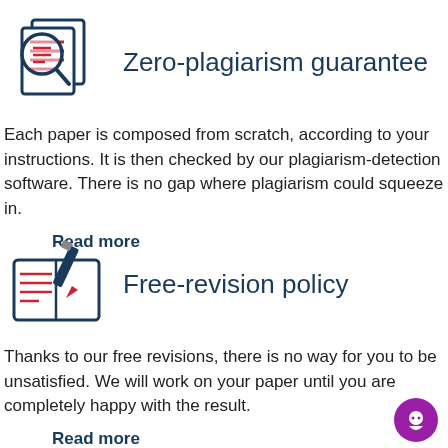[Figure (illustration): Icon of document pages with a magnifying glass showing red lines, representing plagiarism detection]
Zero-plagiarism guarantee
Each paper is composed from scratch, according to your instructions. It is then checked by our plagiarism-detection software. There is no gap where plagiarism could squeeze in.
Read more
[Figure (illustration): Icon of an open book/notebook with a pencil and red lines, representing revision policy]
Free-revision policy
Thanks to our free revisions, there is no way for you to be unsatisfied. We will work on your paper until you are completely happy with the result.
Read more
[Figure (illustration): Purple circular chat bubble icon in bottom right corner]